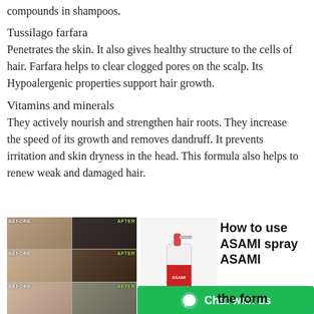compounds in shampoos.
Tussilago farfara
Penetrates the skin. It also gives healthy structure to the cells of hair. Farfara helps to clear clogged pores on the scalp. Its Hypoalergenic properties support hair growth.
Vitamins and minerals
They actively nourish and strengthen hair roots. They increase the speed of its growth and removes dandruff. It prevents irritation and skin dryness in the head. This formula also helps to renew weak and damaged hair.
[Figure (photo): Before and after comparison photos showing hair growth results in 3 rows, each with a BEFORE and AFTER image side by side.]
[Figure (photo): ASAMI hair spray product photo showing the white and red spray bottle.]
How to use ASAMI spray ASAMI
the form
Chat with us